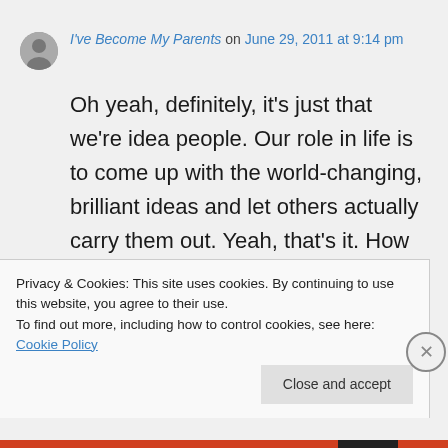I've Become My Parents on June 29, 2011 at 9:14 pm
Oh yeah, definitely, it's just that we're idea people. Our role in life is to come up with the world-changing, brilliant ideas and let others actually carry them out. Yeah, that's it. How could anyone expect anyone to waste such brilliance on just doing stuff?
Privacy & Cookies: This site uses cookies. By continuing to use this website, you agree to their use.
To find out more, including how to control cookies, see here: Cookie Policy
Close and accept